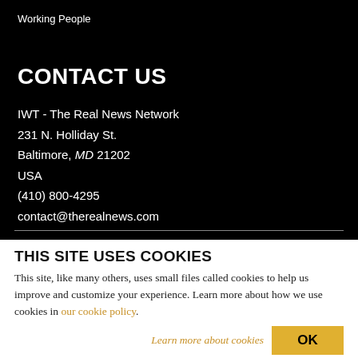Working People
CONTACT US
IWT - The Real News Network
231 N. Holliday St.
Baltimore, MD 21202
USA
(410) 800-4295
contact@therealnews.com
THIS SITE USES COOKIES
This site, like many others, uses small files called cookies to help us improve and customize your experience. Learn more about how we use cookies in our cookie policy.
Learn more about cookies  OK